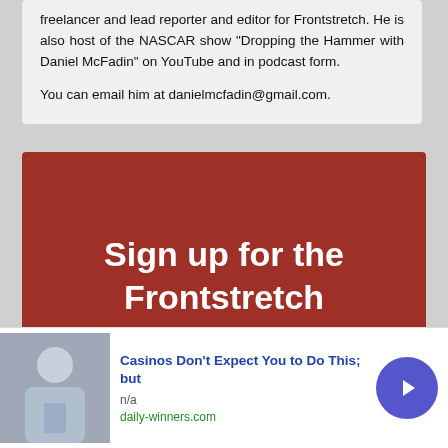freelancer and lead reporter and editor for Frontstretch. He is also host of the NASCAR show "Dropping the Hammer with Daniel McFadin" on YouTube and in podcast form.

You can email him at danielmcfadin@gmail.com.
[Figure (infographic): Red banner with white bold text reading 'Sign up for the Frontstretch Newsletter']
[Figure (infographic): Advertisement bar: photo of a man, text 'Casinos Don't Expect You to Do This; but', 'n/a', 'daily-winners.com', and a blue arrow button]